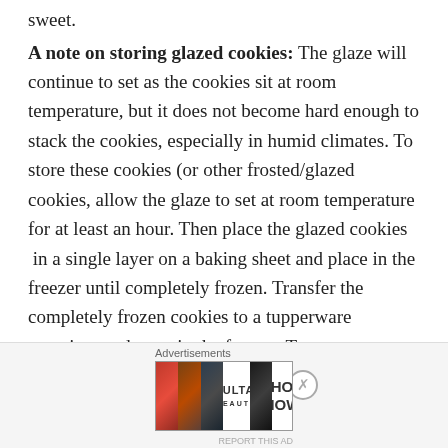sweet.
A note on storing glazed cookies: The glaze will continue to set as the cookies sit at room temperature, but it does not become hard enough to stack the cookies, especially in humid climates. To store these cookies (or other frosted/glazed cookies, allow the glaze to set at room temperature for at least an hour. Then place the glazed cookies  in a single layer on a baking sheet and place in the freezer until completely frozen. Transfer the completely frozen cookies to a tupperware container and store in the freezer. To serve, remove individual frozen cookies from the freezer and allow them to thaw in a single layer (not stacked).
Advertisements
[Figure (photo): Advertisement banner for ULTA beauty with makeup images showing lips with lipstick, a makeup brush, an eye with eyeliner, ULTA beauty logo in center, another eye with dark makeup, and SHOP NOW text on white background.]